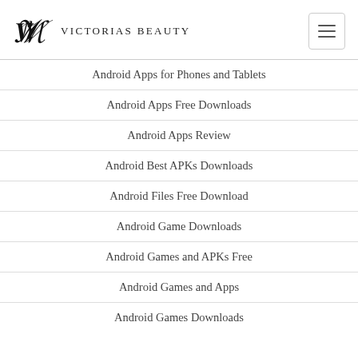Victorias Beauty
Android Apps for Phones and Tablets
Android Apps Free Downloads
Android Apps Review
Android Best APKs Downloads
Android Files Free Download
Android Game Downloads
Android Games and APKs Free
Android Games and Apps
Android Games Downloads